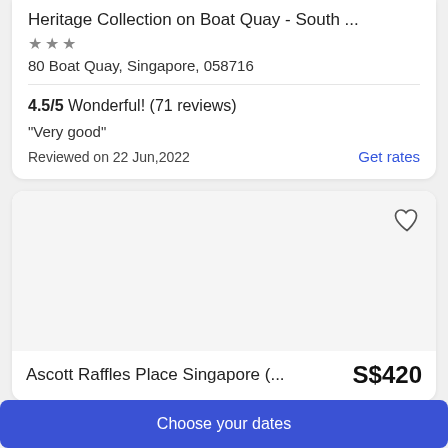Heritage Collection on Boat Quay - South ...
80 Boat Quay, Singapore, 058716
4.5/5 Wonderful! (71 reviews)
"Very good"
Reviewed on 22 Jun,2022
Get rates
[Figure (photo): Hotel image area for Ascott Raffles Place Singapore (blank/white image placeholder)]
Ascott Raffles Place Singapore (... S$420
Choose your dates